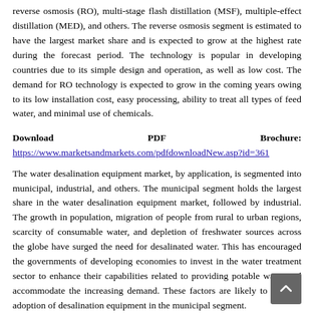reverse osmosis (RO), multi-stage flash distillation (MSF), multiple-effect distillation (MED), and others. The reverse osmosis segment is estimated to have the largest market share and is expected to grow at the highest rate during the forecast period. The technology is popular in developing countries due to its simple design and operation, as well as low cost. The demand for RO technology is expected to grow in the coming years owing to its low installation cost, easy processing, ability to treat all types of feed water, and minimal use of chemicals.
Download PDF Brochure: https://www.marketsandmarkets.com/pdfdownloadNew.asp?id=361
The water desalination equipment market, by application, is segmented into municipal, industrial, and others. The municipal segment holds the largest share in the water desalination equipment market, followed by industrial. The growth in population, migration of people from rural to urban regions, scarcity of consumable water, and depletion of freshwater sources across the globe have surged the need for desalinated water. This has encouraged the governments of developing economies to invest in the water treatment sector to enhance their capabilities related to providing potable water and accommodate the increasing demand. These factors are likely to fuel the adoption of desalination equipment in the municipal segment.
The water desalination equipment market, by product, is segmented into